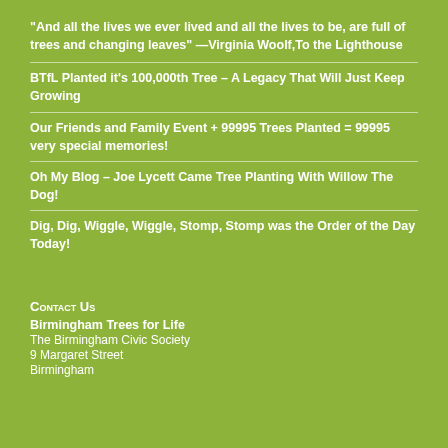"And all the lives we ever lived and all the lives to be, are full of trees and changing leaves" —Virginia Woolf,To the Lighthouse
BTfL Planted it's 100,000th Tree – A Legacy That Will Just Keep Growing
Our Friends and Family Event + 99995 Trees Planted = 99995 very special memories!
Oh My Blog – Joe Lycett Came Tree Planting With Willow The Dog!
Dig, Dig, Wiggle, Wiggle, Stomp, Stomp was the Order of the Day Today!
Contact Us
Birmingham Trees for Life
The Birmingham Civic Society
9 Margaret Street
Birmingham